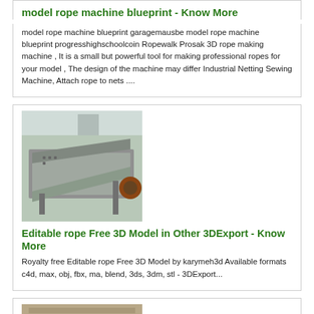model rope machine blueprint - Know More
model rope machine blueprint garagemausbe model rope machine blueprint progresshighschoolcoin Ropewalk Prosak 3D rope making machine , It is a small but powerful tool for making professional ropes for your model , The design of the machine may differ Industrial Netting Sewing Machine, Attach rope to nets ....
[Figure (photo): Photo of a metal industrial vibrating screen or conveyor machine in a factory setting]
Editable rope Free 3D Model in Other 3DExport - Know More
Royalty free Editable rope Free 3D Model by karymeh3d Available formats c4d, max, obj, fbx, ma, blend, 3ds, 3dm, stl - 3DExport...
[Figure (photo): Photo of green industrial machinery (motors or turbines) in a factory hall]